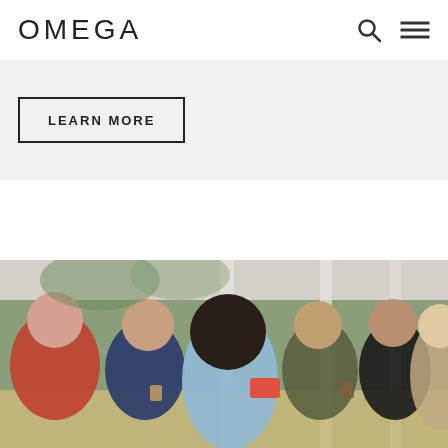OMEGA
LEARN MORE
[Figure (photo): Group of people sitting around a table outdoors on a covered porch, engaged in conversation over a meal or gathering. Several adults of diverse backgrounds are visible, with greenery in the background.]